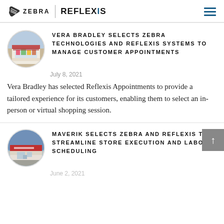ZEBRA | REFLEXIS
[Figure (illustration): Circular thumbnail image of a Vera Bradley store front with colorful displays]
VERA BRADLEY SELECTS ZEBRA TECHNOLOGIES AND REFLEXIS SYSTEMS TO MANAGE CUSTOMER APPOINTMENTS
July 8, 2021
Vera Bradley has selected Reflexis Appointments to provide a tailored experience for its customers, enabling them to select an in-person or virtual shopping session.
[Figure (illustration): Circular thumbnail image of a Maverik convenience store exterior]
MAVERIK SELECTS ZEBRA AND REFLEXIS TO STREAMLINE STORE EXECUTION AND LABOR SCHEDULING
June 2, 2021